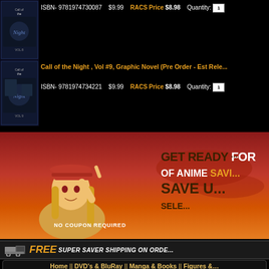[Figure (illustration): Book cover for Call of the Night Vol #8 manga graphic novel, dark themed cover]
ISBN- 9781974730087   $9.99   RACS Price $8.98   Quantity: 1
Call of the Night , Vol #9, Graphic Novel (Pre Order - Est Rele...
[Figure (illustration): Book cover for Call of the Night Vol #9 manga graphic novel, dark themed cover]
ISBN- 9781974734221   $9.99   RACS Price $8.98   Quantity: 1
[Figure (illustration): Anime promotional banner: Get Ready For [Season] of Anime Savi[ngs] Save U[p to X%] Sele[cted items] No Coupon Required - featuring anime girl character with red hat]
FREE SUPER SAVER SHIPPING ON ORDE...
Home || DVD's & BluRay || Manga & Books || Figures &... Cool Stuff || CD's || St...